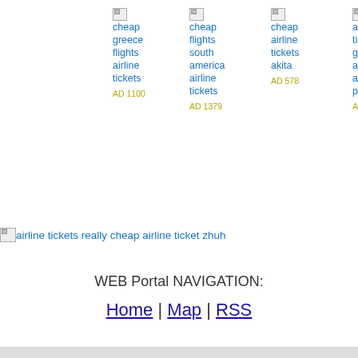[Figure (other): Four ad blocks with broken images showing airline ticket ads: cheap greece flights airline tickets (AD 1100), cheap flights south america airline tickets (AD 1379), cheap airline tickets akita (AD 578), airline tickets go american airlines pisa g (AD 1186)]
[Figure (other): Wide broken image link: airline tickets really cheap airline ticket zhuh]
WEB Portal NAVIGATION:
Home | Map | RSS
footer bar